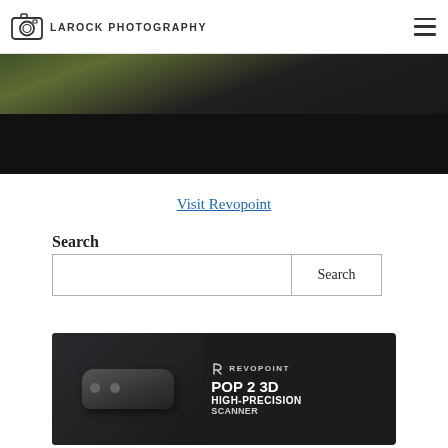LAROCK PHOTOGRAPHY
[Figure (photo): Dark photography scene, partially visible at top of page, showing hands or equipment with dark/green tones fading to black]
Visit Revopoint
Search
[Figure (screenshot): Revopoint POP 2 3D High-Precision Scanner advertisement banner with dark background, scanner device on left and text on right]